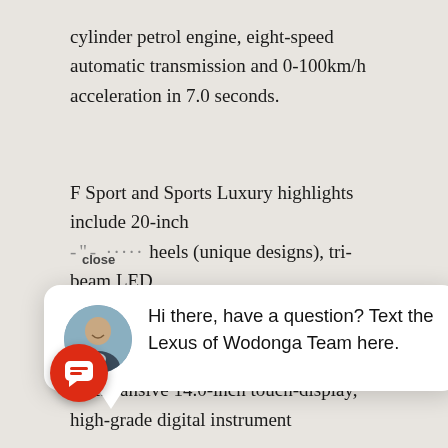cylinder petrol engine, eight-speed automatic transmission and 0-100km/h acceleration in 7.0 seconds.
F Sport and Sports Luxury highlights include 20-inch wheels (unique designs), tri-beam LED headlights, ... system ... , a ... smartphone
[Figure (screenshot): Chat popup overlay with avatar photo of a man, text reading 'Hi there, have a question? Text the Lexus of Wodonga Team here.' A 'close' label appears above the popup. A red circular chat button with a speech bubble icon appears at bottom left.]
The Tazuna cockpit concept is elevated further in F and Sports Luxury grades with an expansive 14.0-inch touch-display, high-grade digital instrument